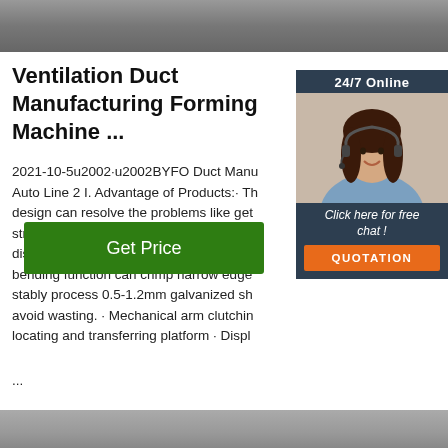[Figure (photo): Top portion of a ventilation duct manufacturing machine, grey metallic]
Ventilation Duct Manufacturing Forming Machine ...
2021-10-5u2002·u2002BYFO Duct Manu Auto Line 2 I. Advantage of Products:· Th design can resolve the problems like get struck, too many repairs form roll-shearin displacements lock machine. · The three bending function can crimp narrow edge stably process 0.5-1.2mm galvanized sh avoid wasting. · Mechanical arm clutchin locating and transferring platform · Displ ...
[Figure (photo): Chat widget showing 24/7 Online support with a woman wearing headset, Click here for free chat, and QUOTATION button]
...
[Figure (other): Get Price button in green]
[Figure (photo): Bottom portion showing manufacturing machine equipment]